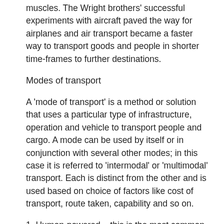muscles. The Wright brothers' successful experiments with aircraft paved the way for airplanes and air transport became a faster way to transport goods and people in shorter time-frames to further destinations.
Modes of transport
A 'mode of transport' is a method or solution that uses a particular type of infrastructure, operation and vehicle to transport people and cargo. A mode can be used by itself or in conjunction with several other modes; in this case it is referred to 'intermodal' or 'multimodal' transport. Each is distinct from the other and is used based on choice of factors like cost of transport, route taken, capability and so on.
1. Human-powered – this is the most common in developing and under-developed countries because of several factors like savings on cost, accessibility of